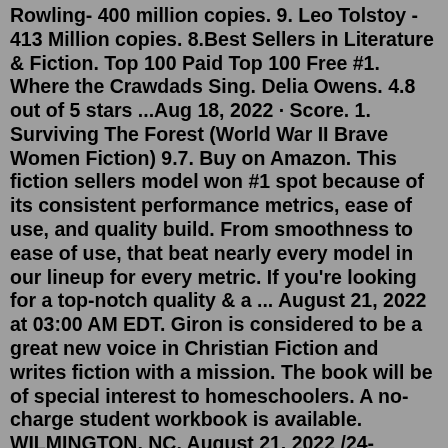Rowling- 400 million copies. 9. Leo Tolstoy - 413 Million copies. 8.Best Sellers in Literature & Fiction. Top 100 Paid Top 100 Free #1. Where the Crawdads Sing. Delia Owens. 4.8 out of 5 stars ...Aug 18, 2022 · Score. 1. Surviving The Forest (World War II Brave Women Fiction) 9.7. Buy on Amazon. This fiction sellers model won #1 spot because of its consistent performance metrics, ease of use, and quality build. From smoothness to ease of use, that beat nearly every model in our lineup for every metric. If you're looking for a top-notch quality & a ... August 21, 2022 at 03:00 AM EDT. Giron is considered to be a great new voice in Christian Fiction and writes fiction with a mission. The book will be of special interest to homeschoolers. A no-charge student workbook is available. WILMINGTON, NC, August 21, 2022 /24-7PressRelease/ -- Bestselling Author Marlayne Giron has announced that her ...Author Publisher January 3 A Time for Mercy: John Grisham: Doubleday: January 10 January 17 The Duke and I: Julia Quinn: